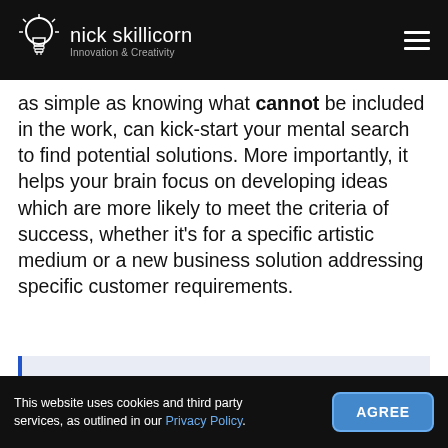nick skillicorn — Innovation & Creativity
as simple as knowing what cannot be included in the work, can kick-start your mental search to find potential solutions. More importantly, it helps your brain focus on developing ideas which are more likely to meet the criteria of success, whether it's for a specific artistic medium or a new business solution addressing specific customer requirements.
So the next time you're stuck for an idea, instead of trying to 'think outside
This website uses cookies and third party services, as outlined in our Privacy Policy.